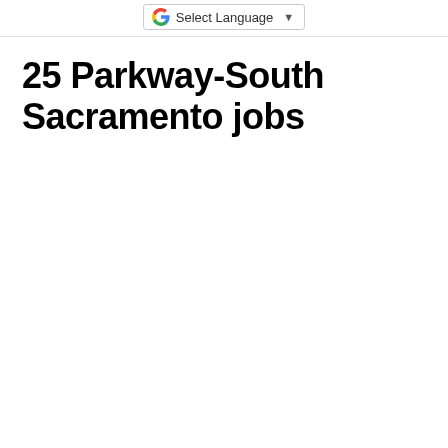Select Language
25 Parkway-South Sacramento jobs